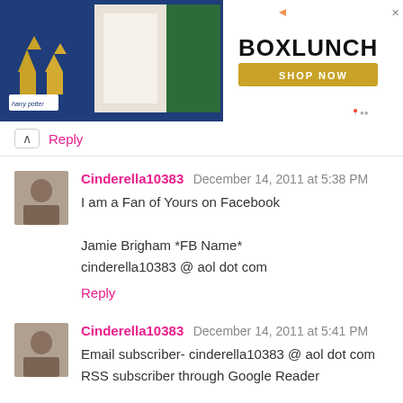[Figure (photo): BoxLunch advertisement banner with Harry Potter themed merchandise on left side and BoxLunch logo with SHOP NOW button on right side]
Reply
Cinderella10383 December 14, 2011 at 5:38 PM
I am a Fan of Yours on Facebook

Jamie Brigham *FB Name*
cinderella10383 @ aol dot com
Reply
Cinderella10383 December 14, 2011 at 5:41 PM
Email subscriber- cinderella10383 @ aol dot com
RSS subscriber through Google Reader

Jamie Brigham *Google Name*
cinderella10383 @ aol dot com